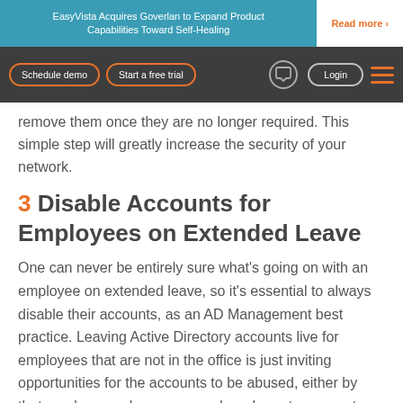EasyVista Acquires Goverlan to Expand Product Capabilities Toward Self-Healing | Read more ›
Schedule demo | Start a free trial | Login
remove them once they are no longer required. This simple step will greatly increase the security of your network.
3 Disable Accounts for Employees on Extended Leave
One can never be entirely sure what's going on with an employee on extended leave, so it's essential to always disable their accounts, as an AD Management best practice. Leaving Active Directory accounts live for employees that are not in the office is just inviting opportunities for the accounts to be abused, either by that employee or by someone else who gets access to their credentials.